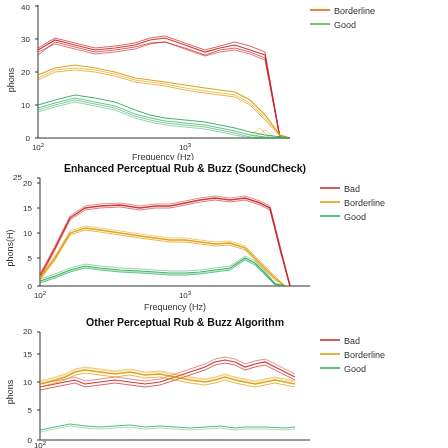[Figure (continuous-plot): Top of a line chart showing phons vs Frequency (Hz) on log scale, with Bad (red), Borderline (orange), Good (green) lines, y-axis 0-40 phons, x-axis 10^2 to beyond 10^3]
[Figure (continuous-plot): Line chart showing phons(H) vs Frequency (Hz) on log scale, with Bad (red), Borderline (orange), Good (green) lines, y-axis 0-25, x-axis 10^2 to ~2000 Hz]
[Figure (continuous-plot): Partial line chart showing phons vs Frequency (Hz), with Bad (red), Borderline (orange), Good (green) lines, y-axis 0-20 (partial), x-axis starting at 10^2]